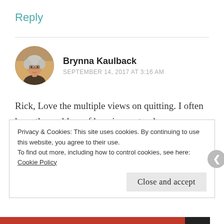Reply
[Figure (photo): Circular avatar photo of an older woman with gray hair and glasses, wearing a dark jacket, in a warm-toned indoor setting.]
Brynna Kaulback
SEPTEMBER 14, 2017 AT 3:16 AM
Rick, Love the multiple views on quitting. I often have the problem of hanging on too long. Rosemary tells me that once I start on something, I'm like a dog with a bone. Determination is one of my best traits and one of my worst. Thanks for some
Privacy & Cookies: This site uses cookies. By continuing to use this website, you agree to their use.
To find out more, including how to control cookies, see here: Cookie Policy
Close and accept